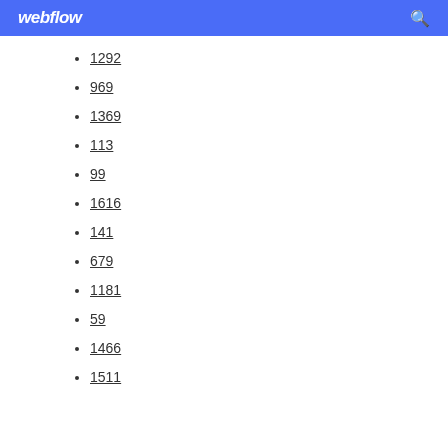webflow
1292
969
1369
113
99
1616
141
679
1181
59
1466
1511